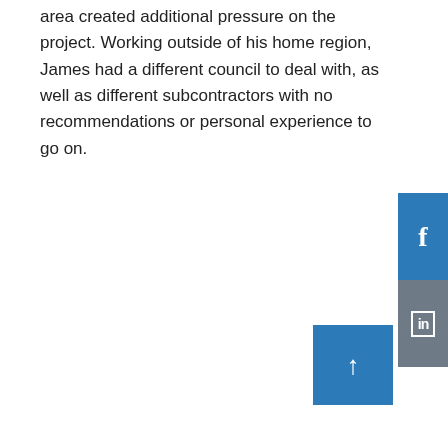area created additional pressure on the project. Working outside of his home region, James had a different council to deal with, as well as different subcontractors with no recommendations or personal experience to go on.
[Figure (other): Facebook social share button (blue square with white 'f' icon)]
[Figure (other): LinkedIn social share button (grey square with white 'in' icon in a box)]
[Figure (other): Scroll to top button (blue square with white upward arrow)]